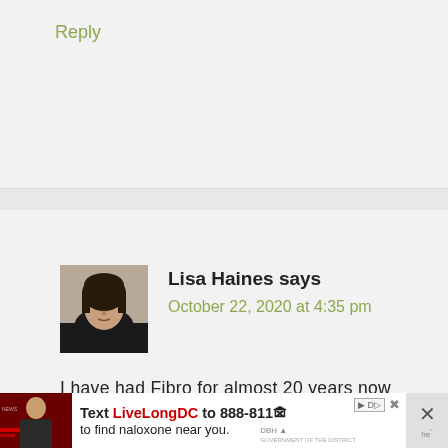Reply
Lisa Haines says
October 22, 2020 at 4:35 pm
[Figure (photo): Avatar photo of Lisa Haines, a woman with dark hair]
I have had Fibro for almost 20 years now and for many years never had the Flu vaccines for fear it might put me into a major flare.
Now in addition to Fibro I also
[Figure (infographic): Advertisement banner: Text LiveLongDC to 888-811 to find naloxone near you. Shows photo of person, DBH logo, and close button.]